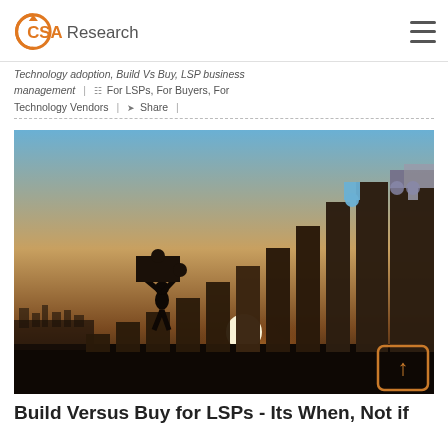CSA Research
Technology adoption, Build Vs Buy, LSP business management | For LSPs, For Buyers, For Technology Vendors | Share |
[Figure (photo): Silhouette of a person carrying a puzzle piece, with ascending bar-chart-like columns in the background, backlit by a sunset, representing build vs buy growth concept.]
Build Versus Buy for LSPs - Its When, Not if